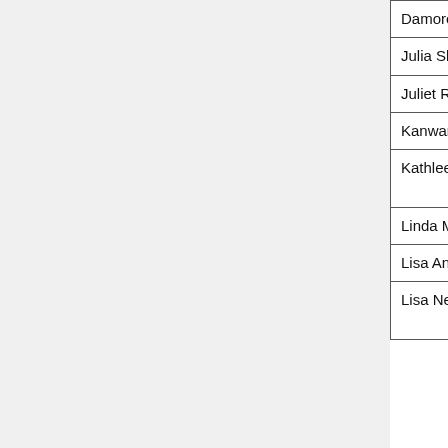| Name | Organization | Email |
| --- | --- | --- |
| Damore | Health | jdamore@dia… |
| Julia Skapik | Cognitive Medicine | jskapik@cogni… |
| Juliet Rubini | Mathematica | jrubini@mathe… |
| Kanwarpreet Sethi | Lantana Consulting Group | kp.sethi@lanta… |
| Kathleen Connor | US Dept of Veterans Affairs | kathleen_conn… |
| Linda Michaelsen | Optum | linda.michaels… |
| Lisa Anderson | The Joint Commission | landerson@joi… |
| Lisa Nelson | Life Over Time Solutions, LLC | LisaRNelson@… |